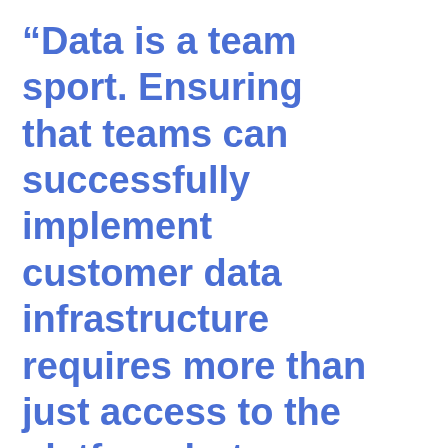“Data is a team sport. Ensuring that teams can successfully implement customer data infrastructure requires more than just access to the platform but a commitment to partnership and change management up and down the stack. Supporting a strong partner ecosystem is critical to driving the best customer experience possible and I’m excited to launch our partner...